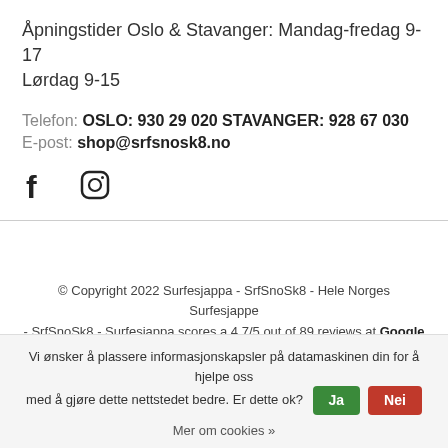Åpningstider Oslo & Stavanger: Mandag-fredag 9-17
Lørdag 9-15
Telefon: OSLO: 930 29 020 STAVANGER: 928 67 030
E-post: shop@srfsnosk8.no
[Figure (other): Social media icons: Facebook and Instagram]
© Copyright 2022 Surfesjappa - SrfSnoSk8 - Hele Norges Surfesjappe - SrfSnoSk8 - Surfesjappa scores a 4.7/5 out of 89 reviews at Google
Vi ønsker å plassere informasjonskapsler på datamaskinen din for å hjelpe oss med å gjøre dette nettstedet bedre. Er dette ok? Ja Nei
Mer om cookies »